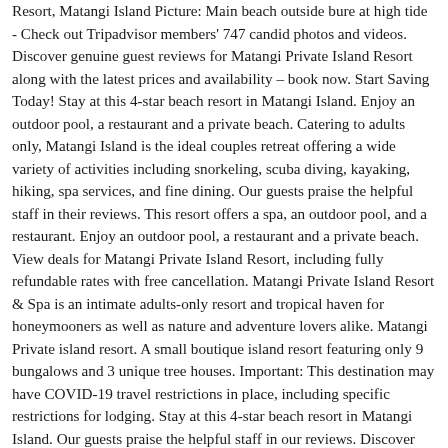Resort, Matangi Island Picture: Main beach outside bure at high tide - Check out Tripadvisor members' 747 candid photos and videos. Discover genuine guest reviews for Matangi Private Island Resort along with the latest prices and availability – book now. Start Saving Today! Stay at this 4-star beach resort in Matangi Island. Enjoy an outdoor pool, a restaurant and a private beach. Catering to adults only, Matangi Island is the ideal couples retreat offering a wide variety of activities including snorkeling, scuba diving, kayaking, hiking, spa services, and fine dining. Our guests praise the helpful staff in their reviews. This resort offers a spa, an outdoor pool, and a restaurant. Enjoy an outdoor pool, a restaurant and a private beach. View deals for Matangi Private Island Resort, including fully refundable rates with free cancellation. Matangi Private Island Resort & Spa is an intimate adults-only resort and tropical haven for honeymooners as well as nature and adventure lovers alike. Matangi Private island resort. A small boutique island resort featuring only 9 bungalows and 3 unique tree houses. Important: This destination may have COVID-19 travel restrictions in place, including specific restrictions for lodging. Stay at this 4-star beach resort in Matangi Island. Our guests praise the helpful staff in our reviews. Discover genuine guest reviews for Matangi Private Island Resort along with the latest prices and availability – book now. Sign in Create a free account. Situated of the tip of Fiji's third biggest island, Taveuni (Turquoise recommends fying with local Fijian carrier Pacifc Sun from Nadi to Taveuni, followed by a 20 minute water-taxi). Matangi attracts many visitors with its